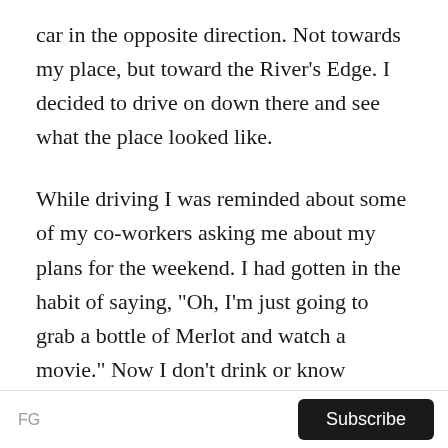car in the opposite direction. Not towards my place, but toward the River's Edge. I decided to drive on down there and see what the place looked like.
While driving I was reminded about some of my co-workers asking me about my plans for the weekend. I had gotten in the habit of saying, "Oh, I'm just going to grab a bottle of Merlot and watch a movie." Now I don't drink or know anything about wine. The only reason I say that is because of the movies I watch, most of the women drink a glass of Merlot, so that's what I say. And after that people would smile and walk away. Before that people would
FG  Subscribe